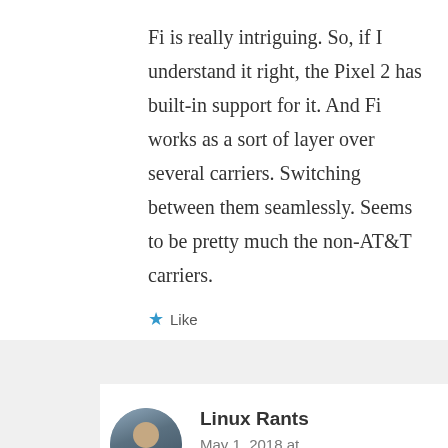Fi is really intriguing. So, if I understand it right, the Pixel 2 has built-in support for it. And Fi works as a sort of layer over several carriers. Switching between them seamlessly. Seems to be pretty much the non-AT&T carriers.
Like
Linux Rants
May 1, 2018 at 12:24 pm